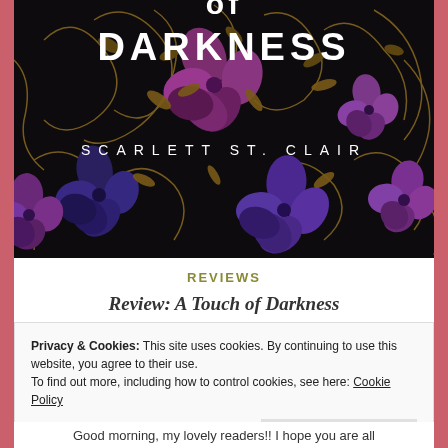[Figure (illustration): Book cover for 'A Touch of Darkness' by Scarlett St. Clair. Dark background with ornate gold scrollwork and large purple/blue flowers. Title 'DARKNESS' visible in large bold white font at top, author name 'SCARLETT ST. CLAIR' in spaced white caps in middle.]
REVIEWS
Review: A Touch of Darkness
Privacy & Cookies: This site uses cookies. By continuing to use this website, you agree to their use.
To find out more, including how to control cookies, see here: Cookie Policy
Close and accept
Good morning, my lovely readers!! I hope you are all